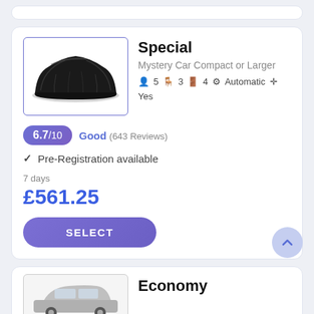[Figure (photo): Car covered with black cover, mystery car image in a bordered box]
Special
Mystery Car Compact or Larger
5  3  4  Automatic  Yes
6.7/10  Good (643 Reviews)
✓ Pre-Registration available
7 days
£561.25
SELECT
Economy